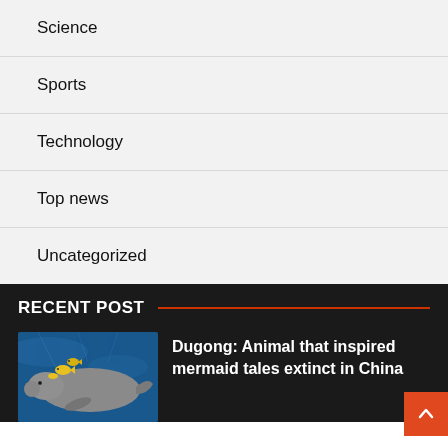Science
Sports
Technology
Top news
Uncategorized
RECENT POST
[Figure (photo): A dugong (manatee-like marine mammal) swimming underwater near small yellow fish, dark blue water background]
Dugong: Animal that inspired mermaid tales extinct in China